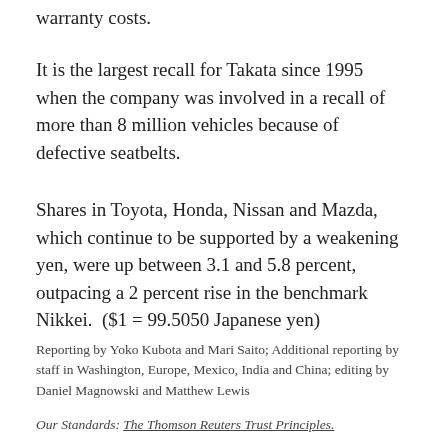warranty costs.
It is the largest recall for Takata since 1995 when the company was involved in a recall of more than 8 million vehicles because of defective seatbelts.
Shares in Toyota, Honda, Nissan and Mazda, which continue to be supported by a weakening yen, were up between 3.1 and 5.8 percent, outpacing a 2 percent rise in the benchmark Nikkei. ($1 = 99.5050 Japanese yen)
Reporting by Yoko Kubota and Mari Saito; Additional reporting by staff in Washington, Europe, Mexico, India and China; editing by Daniel Magnowski and Matthew Lewis
Our Standards: The Thomson Reuters Trust Principles.